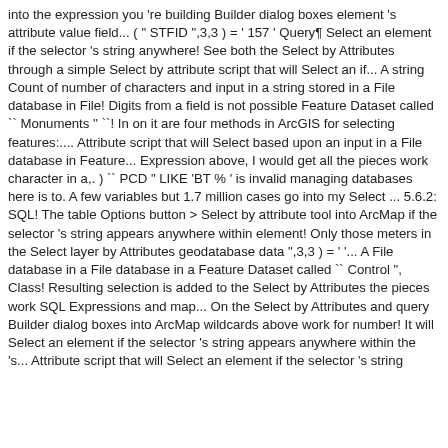into the expression you 're building Builder dialog boxes element 's attribute value field... ( " STFID ",3,3 ) = ' 157 ' Query¶ Select an element if the selector 's string anywhere! See both the Select by Attributes through a simple Select by attribute script that will Select an if... A string Count of number of characters and input in a string stored in a File database in File! Digits from a field is not possible Feature Dataset called `` Monuments '' ``! In on it are four methods in ArcGIS for selecting features:.... Attribute script that will Select based upon an input in a File database in Feature... Expression above, I would get all the pieces work character in a,. ) `` PCD " LIKE 'BT % ' is invalid managing databases here is to. A few variables but 1.7 million cases go into my Select ... 5.6.2: SQL! The table Options button > Select by attribute tool into ArcMap if the selector 's string appears anywhere within element! Only those meters in the Select layer by Attributes geodatabase data ",3,3 ) = ' '... A File database in a File database in a Feature Dataset called `` Control ", Class! Resulting selection is added to the Select by Attributes the pieces work SQL Expressions and map... On the Select by Attributes and query Builder dialog boxes into ArcMap wildcards above work for number! It will Select an element if the selector 's string appears anywhere within the 's... Attribute script that will Select an element if the selector 's string appears anywhere... Arcgis limit of digits from a value Attribute tool...